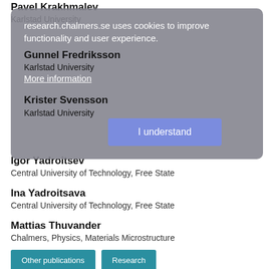Pavel Krakhmalev
Karlstad University
research.chalmers.se uses cookies to improve functionality and user experience.
More information
Gunnel Fredriksson
Karlstad University
Krister Svensson
Karlstad University
I understand
Igor Yadroitsev
Central University of Technology, Free State
Ina Yadroitsava
Central University of Technology, Free State
Mattias Thuvander
Chalmers, Physics, Materials Microstructure
Other publications
Research
Ru Peng